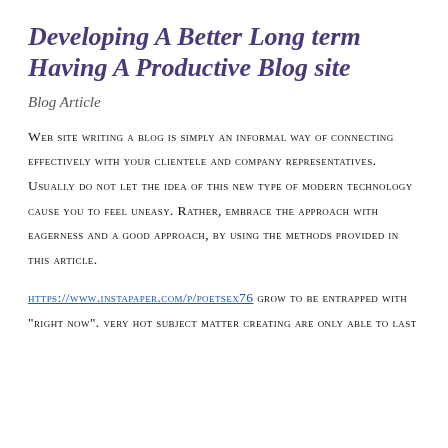Developing A Better Long term Having A Productive Blog site
Blog Article
Web site writing a blog is simply an informal way of connecting effectively with your clientele and company representatives. Usually do not let the idea of this new type of modern technology cause you to feel uneasy. Rather, embrace the approach with eagerness and a good approach, by using the methods provided in this article.
https://www.instapaper.com/p/poetsex76 grow to be entrapped with "right now". very hot subject matter creating are only able to last